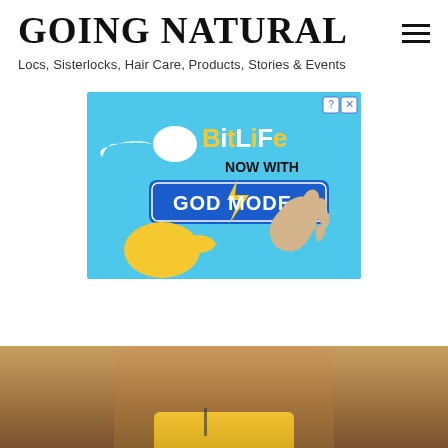GOING NATURAL
Locs, Sisterlocks, Hair Care, Products, Stories & Events
[Figure (other): BitLife advertisement banner with light blue background showing sperm emoji graphic, 'BitLife NOW WITH GOD MODE' text, yellow pointing hand emoji and illustrated human hand, with close/help buttons in top right corner]
[Figure (photo): Partial photo of a person visible from approximately neck/shoulders down, wearing a yellow off-shoulder top, brown/tan background, only bottom portion visible]